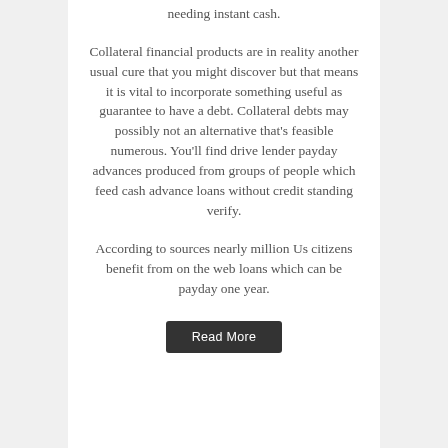needing instant cash.
Collateral financial products are in reality another usual cure that you might discover but that means it is vital to incorporate something useful as guarantee to have a debt. Collateral debts may possibly not an alternative that’s feasible numerous. You’ll find drive lender payday advances produced from groups of people which feed cash advance loans without credit standing verify.
According to sources nearly million Us citizens benefit from on the web loans which can be payday one year.
Read More